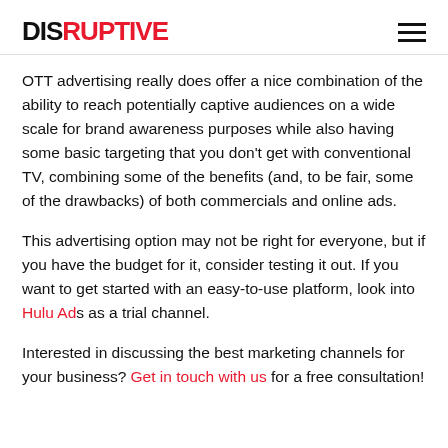DISRUPTIVE
OTT advertising really does offer a nice combination of the ability to reach potentially captive audiences on a wide scale for brand awareness purposes while also having some basic targeting that you don't get with conventional TV, combining some of the benefits (and, to be fair, some of the drawbacks) of both commercials and online ads.
This advertising option may not be right for everyone, but if you have the budget for it, consider testing it out. If you want to get started with an easy-to-use platform, look into Hulu Ads as a trial channel.
Interested in discussing the best marketing channels for your business? Get in touch with us for a free consultation!